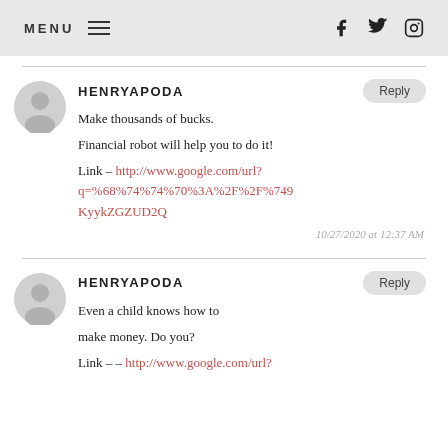MENU [hamburger] [facebook] [twitter] [instagram]
HENRYAPODA
Make thousands of bucks.
Financial robot will help you to do it!
Link – http://www.google.com/url?q=%68%74%74%70%3A%2F%2F%749KyykZGZUD2Q
10/27/2020 at 12:37 AM
HENRYAPODA
Even a child knows how to make money. Do you?
Link – – http://www.google.com/url?